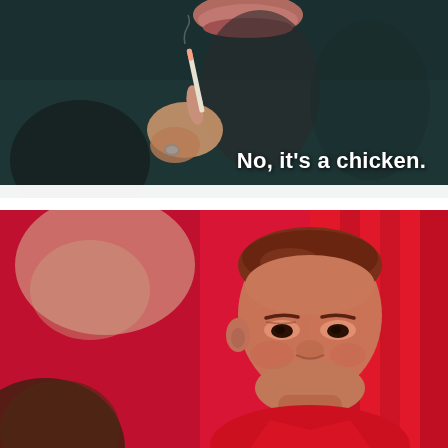[Figure (photo): Top panel: dark teal background showing a person's lower face with lips and a hand holding a cigarette]
No, it's a chicken.
[Figure (photo): Bottom panel: red-lit scene with a man in a red shirt with slicked-back hair looking skeptically, red curtains in background, blurred pale figure on left]